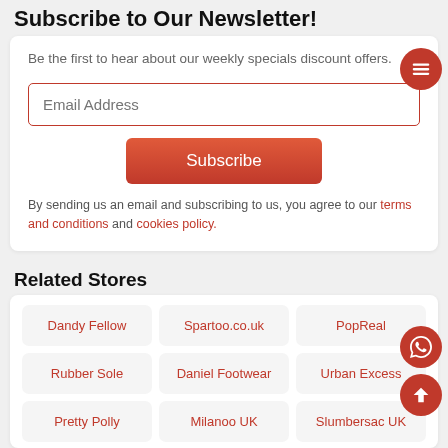Subscribe to Our Newsletter!
Be the first to hear about our weekly specials discount offers.
Email Address
Subscribe
By sending us an email and subscribing to us, you agree to our terms and conditions and cookies policy.
Related Stores
Dandy Fellow
Spartoo.co.uk
PopReal
Rubber Sole
Daniel Footwear
Urban Excess
Pretty Polly
Milanoo UK
Slumbersac UK